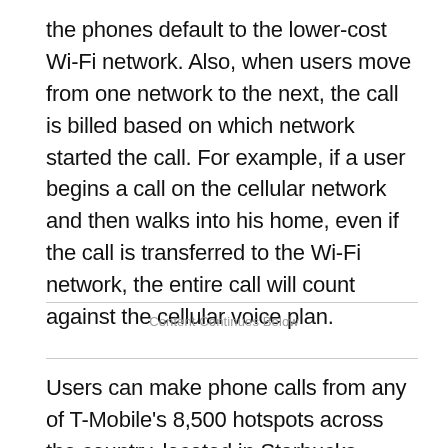the phones default to the lower-cost Wi-Fi network. Also, when users move from one network to the next, the call is billed based on which network started the call. For example, if a user begins a call on the cellular network and then walks into his home, even if the call is transferred to the Wi-Fi network, the entire call will count against the cellular voice plan.
Content Continues Below
Users can make phone calls from any of T-Mobile's 8,500 hotspots across the country, located in Starbucks coffee shops and other